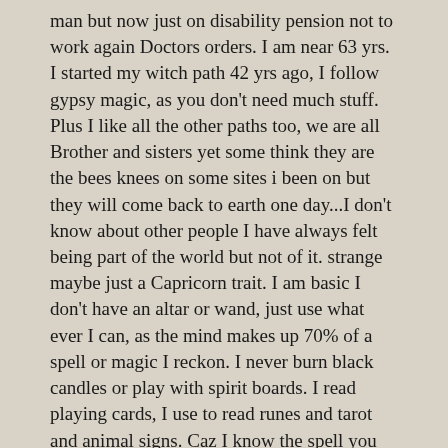man but now just on disability pension not to work again Doctors orders. I am near 63 yrs. I started my witch path 42 yrs ago, I follow gypsy magic, as you don't need much stuff. Plus I like all the other paths too, we are all Brother and sisters yet some think they are the bees knees on some sites i been on but they will come back to earth one day...I don't know about other people I have always felt being part of the world but not of it. strange maybe just a Capricorn trait. I am basic I don't have an altar or wand, just use what ever I can, as the mind makes up 70% of a spell or magic I reckon. I never burn black candles or play with spirit boards. I read playing cards, I use to read runes and tarot and animal signs. Caz I know the spell you used I have it here in a very very old witch book going back to magic in 1600/1700s I think....cheers for now Greg
I